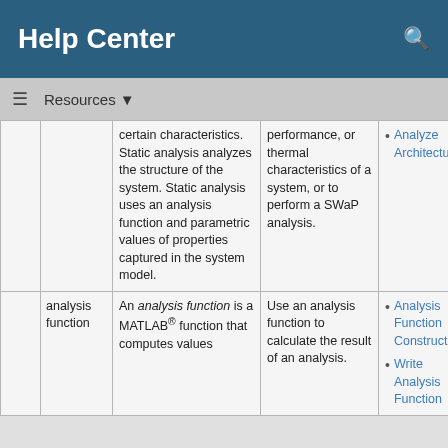Help Center
Resources
|  |  | Description | When to Use | More Info |
| --- | --- | --- | --- | --- |
|  |  | certain characteristics. Static analysis analyzes the structure of the system. Static analysis uses an analysis function and parametric values of properties captured in the system model. | performance, or thermal characteristics of a system, or to perform a SWaP analysis. | Analyze Architecture |
|  | analysis function | An analysis function is a MATLAB® function that computes values | Use an analysis function to calculate the result of an analysis. | Analysis Function Constructs
Write Analysis Function |